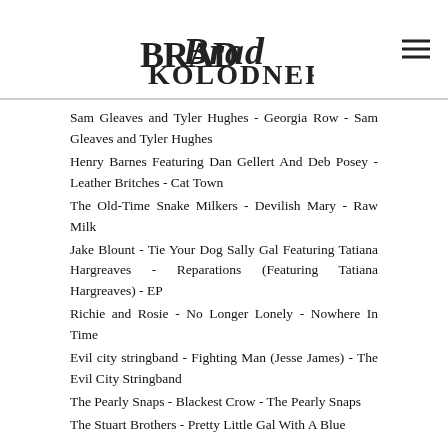Brad Kolodner
Sam Gleaves and Tyler Hughes - Georgia Row - Sam Gleaves and Tyler Hughes
Henry Barnes Featuring Dan Gellert And Deb Posey - Leather Britches - Cat Town
The Old-Time Snake Milkers - Devilish Mary - Raw Milk
Jake Blount - Tie Your Dog Sally Gal Featuring Tatiana Hargreaves - Reparations (Featuring Tatiana Hargreaves) - EP
Richie and Rosie - No Longer Lonely - Nowhere In Time
Evil city stringband - Fighting Man (Jesse James) - The Evil City Stringband
The Pearly Snaps - Blackest Crow - The Pearly Snaps
The Stuart Brothers - Pretty Little Gal With A Blue